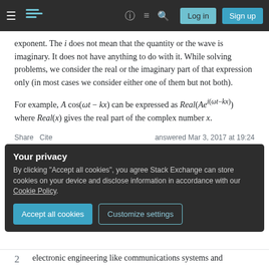Stack Exchange navigation bar with hamburger menu, logo, question mark, chat, search icons, Log in and Sign up buttons
exponent. The i does not mean that the quantity or the wave is imaginary. It does not have anything to do with it. While solving problems, we consider the real or the imaginary part of that expression only (in most cases we consider either one of them but not both).
For example, A cos(ωt − kx) can be expressed as Real(Ae^{i(ωt−kx)}) where Real(x) gives the real part of the complex number x.
Share   Cite   answered Mar 3, 2017 at 19:24
Your privacy
By clicking "Accept all cookies", you agree Stack Exchange can store cookies on your device and disclose information in accordance with our Cookie Policy.
Accept all cookies   Customize settings
2   electronic engineering like communications systems and